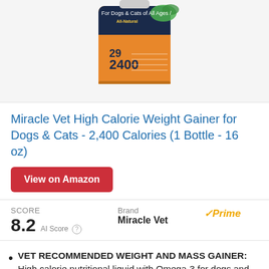[Figure (photo): Product image of Miracle Vet High Calorie Weight Gainer bottle, orange and dark blue label, cropped at top]
Miracle Vet High Calorie Weight Gainer for Dogs & Cats - 2,400 Calories (1 Bottle - 16 oz)
View on Amazon
SCORE
8.2  AI Score
Brand
Miracle Vet
✓Prime
VET RECOMMENDED WEIGHT AND MASS GAINER: High calorie nutritional liquid with Omega-3 for dogs and cats. 150 kcal per ounce.
# 1 INGREDIENT NATURAL FISH OIL: Contains essential Omega-3 fatty acids to support a